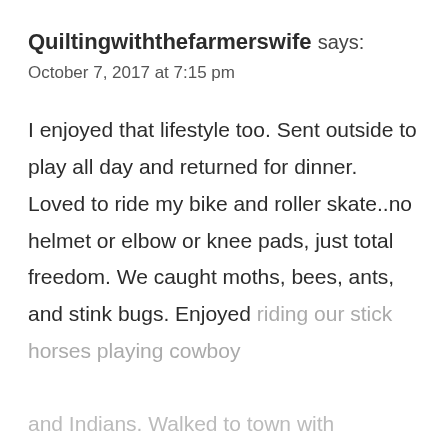Quiltingwiththefarmerswife says:
October 7, 2017 at 7:15 pm
I enjoyed that lifestyle too. Sent outside to play all day and returned for dinner. Loved to ride my bike and roller skate..no helmet or elbow or knee pads, just total freedom. We caught moths, bees, ants, and stink bugs. Enjoyed riding our stick horses playing cowboy and Indians. Walked to town with